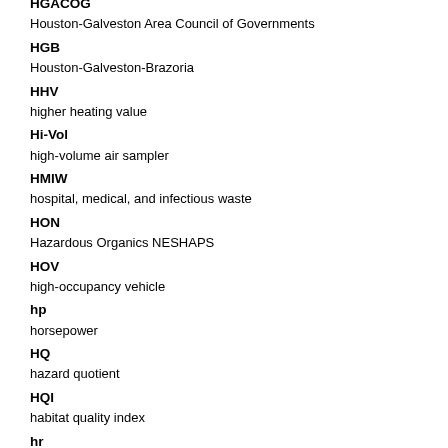HGACOG
Houston-Galveston Area Council of Governments
HGB
Houston-Galveston-Brazoria
HHV
higher heating value
Hi-Vol
high-volume air sampler
HMIW
hospital, medical, and infectious waste
HON
Hazardous Organics NESHAPS
HOV
high-occupancy vehicle
hp
horsepower
HQ
hazard quotient
HQI
habitat quality index
hr
hour
HR
Human Resources